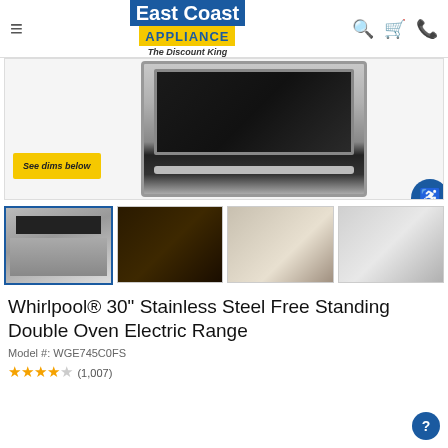[Figure (screenshot): East Coast Appliance logo with blue background, yellow bar with APPLIANCE text, and tagline 'The Discount King']
[Figure (photo): Whirlpool stainless steel double oven electric range product main image]
See dims below
[Figure (photo): Thumbnail 1: full oven front view selected]
[Figure (photo): Thumbnail 2: oven interior with cookies on rack]
[Figure (photo): Thumbnail 3: kitchen scene with stainless appliances]
[Figure (photo): Thumbnail 4: built-in double oven in kitchen]
Whirlpool® 30" Stainless Steel Free Standing Double Oven Electric Range
Model #: WGE745C0FS
4.0 stars (1,007)